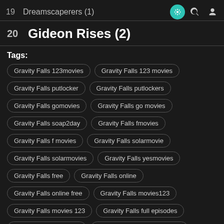19  Dreamscaperers (1)
20  Gideon Rises (2)
Tags:
Gravity Falls 123movies
Gravity Falls 123 movies
Gravity Falls putlocker
Gravity Falls putlockers
Gravity Falls gomovies
Gravity Falls go movies
Gravity Falls soap2day
Gravity Falls fmovies
Gravity Falls f movies
Gravity Falls solarmovie
Gravity Falls solarmovies
Gravity Falls yesmovies
Gravity Falls free
Gravity Falls online
Gravity Falls online free
Gravity Falls movies123
Gravity Falls movies 123
Gravity Falls full episodes
Gravity Falls full series
Gravity Falls complete series
Gravity Falls episodes
Gravity Falls soaptoday